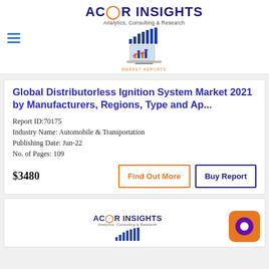ACOR INSIGHTS Analytics, Consulting & Research
Global Distributorless Ignition System Market 2021 by Manufacturers, Regions, Type and Ap...
Report ID:70175
Industry Name: Automobile & Transportation
Publishing Date: Jun-22
No. of Pages: 109
$3480
Find Out More
Buy Report
[Figure (logo): ACOR Insights logo with bar chart icon - second card partial view]